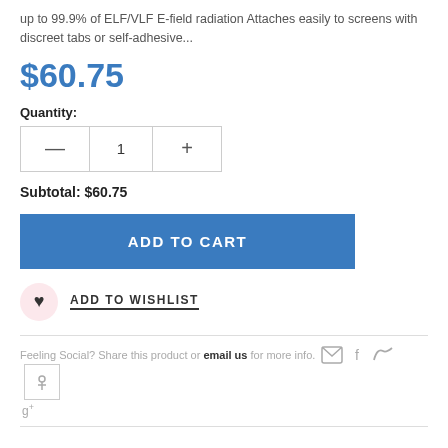up to 99.9% of ELF/VLF E-field radiation Attaches easily to screens with discreet tabs or self-adhesive...
$60.75
Quantity:
Subtotal: $60.75
ADD TO CART
ADD TO WISHLIST
Feeling Social? Share this product or email us for more info.